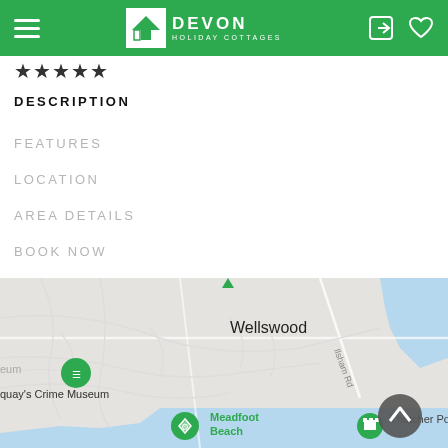Devon Holiday Cottages
★★★★★
DESCRIPTION
FEATURES
LOCATION
AREA DETAILS
BOOK NOW
[Figure (map): Google Maps view showing Wellswood area in Torquay, Devon, including Meadfoot Beach, Thatcher Point, and Torquay's Crime Museum]